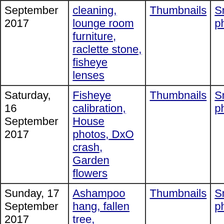| Date | Description | Thumbnails | Small photos | diary |
| --- | --- | --- | --- | --- |
| September 2017 | cleaning, lounge room furniture, raclette stone, fisheye lenses | Thumbnails | Small photos | diary |
| Saturday, 16 September 2017 | Fisheye calibration, House photos, DxO crash, Garden flowers | Thumbnails | Small photos | diary |
| Sunday, 17 September 2017 | Ashampoo hang, fallen tree, sourdough, Phaleonopsis, Hibiscus | Thumbnails | Small photos | diary |
| Monday, 18 September 2017 | eBay breakage, Hibiscus, GPS logging, dinner | Thumbnails | Small photos | diary |
| Tuesday, 19 September 2017 | Dinner panoramas | Thumbnails | Small photos | diary |
| Wednesday, 20 September 2017 | Yvonne with Arne Koets, flowers in Misery Creek Road, driveway | Thumbnails | Small photos | diary |
| Friday, 22 September 2017 | Wild orchids, house photos | Thumbnails | Small photos | diary |